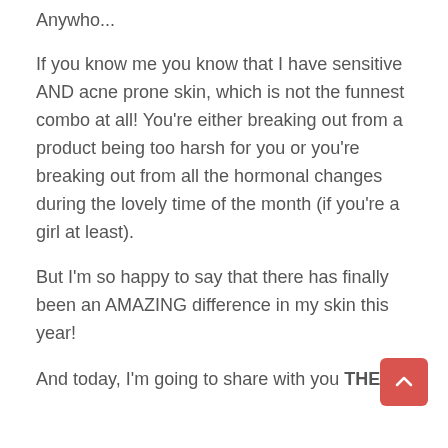Anywho...
If you know me you know that I have sensitive AND acne prone skin, which is not the funnest combo at all! You're either breaking out from a product being too harsh for you or you're breaking out from all the hormonal changes during the lovely time of the month (if you're a girl at least).
But I'm so happy to say that there has finally been an AMAZING difference in my skin this year!
And today, I'm going to share with you THE